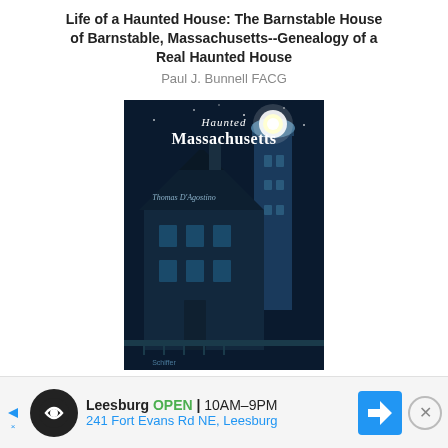Life of a Haunted House: The Barnstable House of Barnstable, Massachusetts--Genealogy of a Real Haunted House
Paul J. Bunnell FACG
[Figure (photo): Book cover of 'Haunted Massachusetts' by Thomas D'Agostino showing a dark blue-toned image of a lighthouse and house at night]
Haunted Massachusetts
Thomas D'Agostino
[Figure (photo): Book cover partially visible showing bare winter trees against a grey sky]
Leesburg  OPEN  10AM–9PM  241 Fort Evans Rd NE, Leesburg